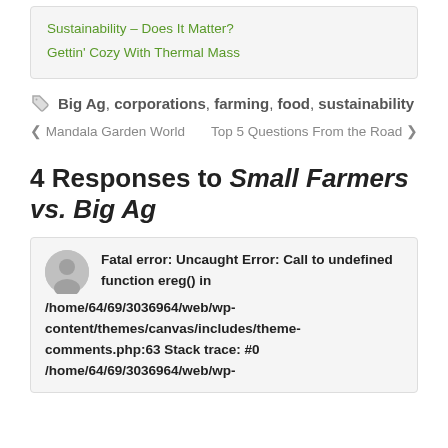Sustainability – Does It Matter?
Gettin' Cozy With Thermal Mass
Big Ag, corporations, farming, food, sustainability
◀ Mandala Garden World    Top 5 Questions From the Road ▶
4 Responses to Small Farmers vs. Big Ag
Fatal error: Uncaught Error: Call to undefined function ereg() in /home/64/69/3036964/web/wp-content/themes/canvas/includes/theme-comments.php:63 Stack trace: #0 /home/64/69/3036964/web/wp-